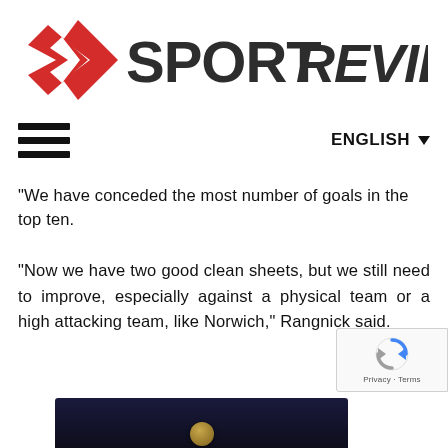[Figure (logo): SportReviews logo with red diamond/chevron icon and bold SPORT REVIEWS text in dark grey/black]
ENGLISH ▼
“We have conceded the most number of goals in the top ten.
“Now we have two good clean sheets, but we still need to improve, especially against a physical team or a high attacking team, like Norwich,” Rangnick said.
[Figure (screenshot): Bottom portion of a dark image, partially visible, showing a glowing circular element at the bottom center]